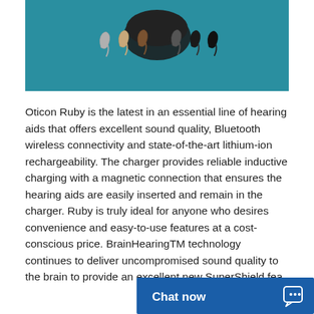[Figure (photo): Product photo of Oticon Ruby hearing aids in various colors arranged in front of a charging case, on a teal/blue background]
Oticon Ruby is the latest in an essential line of hearing aids that offers excellent sound quality, Bluetooth wireless connectivity and state-of-the-art lithium-ion rechargeability. The charger provides reliable inductive charging with a magnetic connection that ensures the hearing aids are easily inserted and remain in the charger. Ruby is truly ideal for anyone who desires convenience and easy-to-use features at a cost-conscious price. BrainHearingTM technology continues to deliver uncompromised sound quality to the brain to provide an excellent new SuperShield fea
[Figure (screenshot): Chat now button overlay at the bottom right of the page]